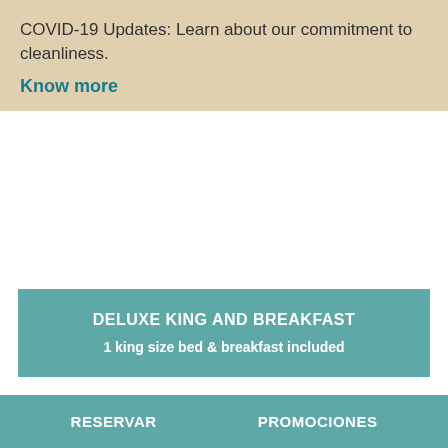COVID-19 Updates: Learn about our commitment to cleanliness.
Know more
DELUXE KING AND BREAKFAST
1 king size bed & breakfast included
¿Why book with us?
RESERVAR   PROMOCIONES